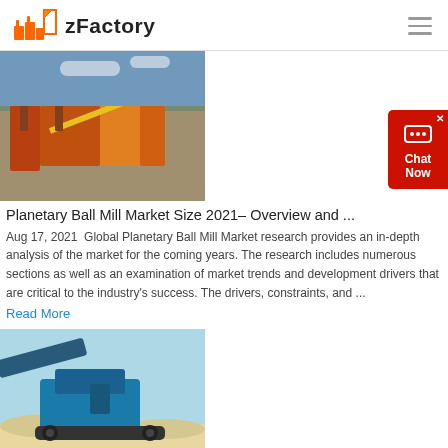zFactory
[Figure (photo): Industrial planetary ball mill machinery at a construction or mining site, orange and yellow equipment]
Planetary Ball Mill Market Size 2021– Overview and ...
Aug 17, 2021  Global Planetary Ball Mill Market research provides an in-depth analysis of the market for the coming years. The research includes numerous sections as well as an examination of market trends and development drivers that are critical to the industry's success. The drivers, constraints, and ...
Read More
[Figure (photo): Blue mobile jaw crusher machine on sandy ground with stone aggregates]
Size reduction with Planetary Ball Mills